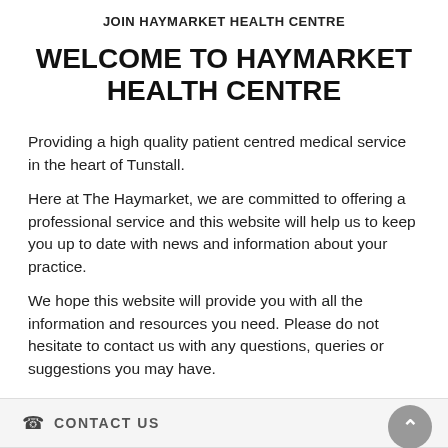JOIN HAYMARKET HEALTH CENTRE
WELCOME TO HAYMARKET HEALTH CENTRE
Providing a high quality patient centred medical service in the heart of Tunstall.
Here at The Haymarket, we are committed to offering a professional service and this website will help us to keep you up to date with news and information about your practice.
We hope this website will provide you with all the information and resources you need. Please do not hesitate to contact us with any questions, queries or suggestions you may have.
CONTACT US
SURGERY CONTACT